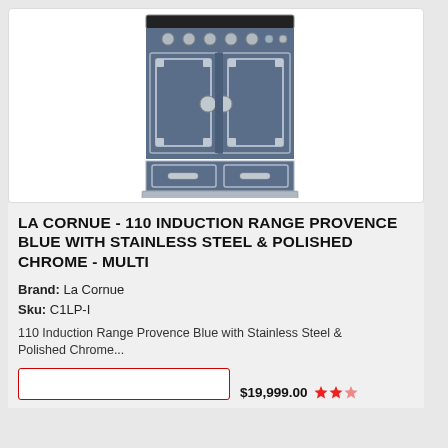[Figure (photo): La Cornue 110 Induction Range in Provence Blue with Stainless Steel and Polished Chrome. A large freestanding range with two oven doors, drawer compartments below, induction cooktop on top, and silver/chrome trim on a blue body.]
LA CORNUE - 110 INDUCTION RANGE PROVENCE BLUE WITH STAINLESS STEEL & POLISHED CHROME - MULTI
Brand: La Cornue
Sku: C1LP-I
110 Induction Range Provence Blue with Stainless Steel & Polished Chrome...
$19,999.00